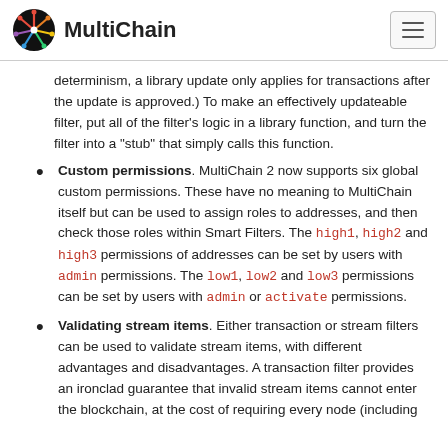MultiChain
determinism, a library update only applies for transactions after the update is approved.) To make an effectively updateable filter, put all of the filter's logic in a library function, and turn the filter into a "stub" that simply calls this function.
Custom permissions. MultiChain 2 now supports six global custom permissions. These have no meaning to MultiChain itself but can be used to assign roles to addresses, and then check those roles within Smart Filters. The high1, high2 and high3 permissions of addresses can be set by users with admin permissions. The low1, low2 and low3 permissions can be set by users with admin or activate permissions.
Validating stream items. Either transaction or stream filters can be used to validate stream items, with different advantages and disadvantages. A transaction filter provides an ironclad guarantee that invalid stream items cannot enter the blockchain, at the cost of requiring every node (including